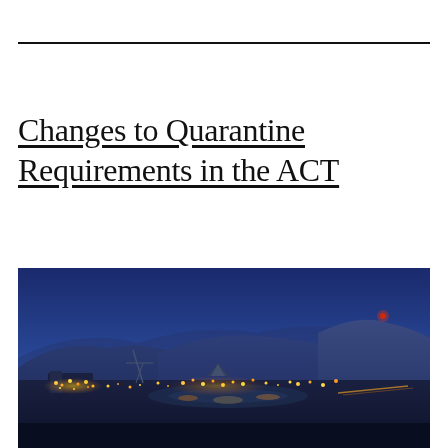Changes to Quarantine Requirements in the ACT
[Figure (photo): Aerial night/dusk cityscape of Canberra, ACT, Australia, showing city lights, Parliament House area, Lake Burley Griffin, and the surrounding hills (including Black Mountain) under a deep blue twilight sky.]